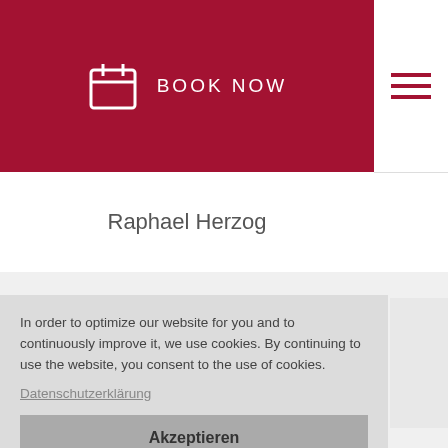BOOK NOW
Raphael Herzog
In order to optimize our website for you and to continuously improve it, we use cookies. By continuing to use the website, you consent to the use of cookies.
Datenschutzerklärung
Akzeptieren